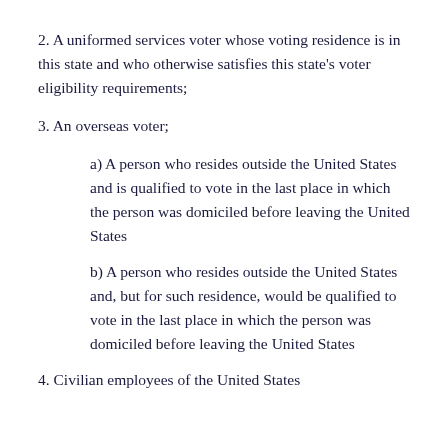2. A uniformed services voter whose voting residence is in this state and who otherwise satisfies this state's voter eligibility requirements;
3. An overseas voter;
a) A person who resides outside the United States and is qualified to vote in the last place in which the person was domiciled before leaving the United States
b) A person who resides outside the United States and, but for such residence, would be qualified to vote in the last place in which the person was domiciled before leaving the United States
4. Civilian employees of the United States